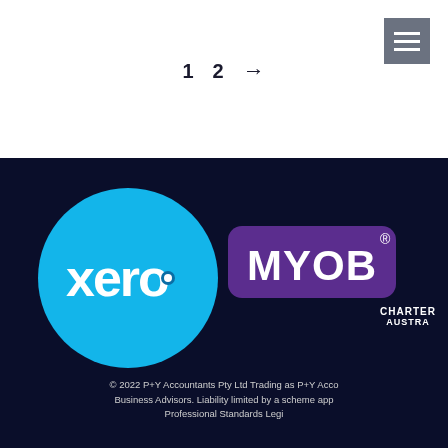[Figure (other): Hamburger menu icon (three horizontal lines) on grey background, top right corner]
1  2  →
[Figure (logo): Xero logo: cyan/turquoise circle with 'xero' text and dot symbol in white]
[Figure (logo): MYOB logo: purple rounded rectangle badge with 'MYOB' in bold white text and registered trademark symbol]
CHARTER AUSTRA
© 2022 P+Y Accountants Pty Ltd Trading as P+Y Acco Business Advisors. Liability limited by a scheme approved Professional Standards Legi
Client Lounge & Priva